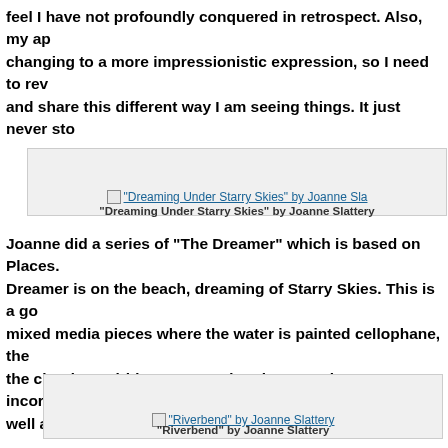feel I have not profoundly conquered in retrospect. Also, my approach is changing to a more impressionistic expression, so I need to revisit these and share this different way I am seeing things. It just never sto
[Figure (photo): Image placeholder link: "Dreaming Under Starry Skies" by Joanne Slattery]
"Dreaming Under Starry Skies" by Joanne Slattery
Joanne did a series of “The Dreamer” which is based on Places. The Dreamer is on the beach, dreaming of Starry Skies. This is a go mixed media pieces where the water is painted cellophane, the the clouds are iridescent powder pigment, she’s incorporated s well as gold-leaf cut out fish”.
[Figure (photo): Image placeholder link: "Riverbend" by Joanne Slattery]
"Riverbend" by Joanne Slattery